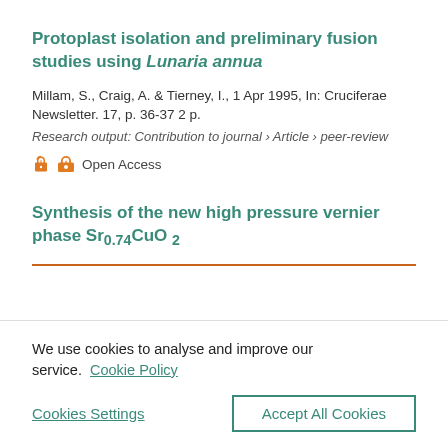Protoplast isolation and preliminary fusion studies using Lunaria annua
Millam, S., Craig, A. & Tierney, I., 1 Apr 1995, In: Cruciferae Newsletter. 17, p. 36-37 2 p.
Research output: Contribution to journal › Article › peer-review
Open Access
Synthesis of the new high pressure vernier phase Sr0.74CuO 2
We use cookies to analyse and improve our service. Cookie Policy
Cookies Settings
Accept All Cookies